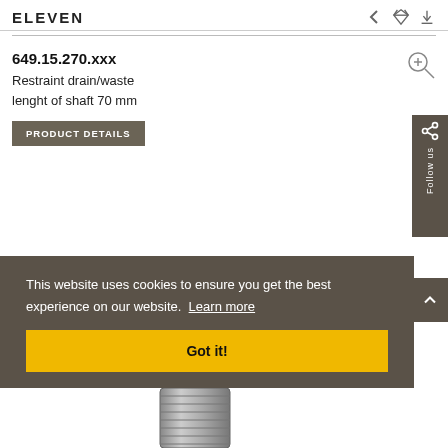ELEVEN
649.15.270.xxx
Restraint drain/waste
lenght of shaft 70 mm
PRODUCT DETAILS
Follow us
This website uses cookies to ensure you get the best experience on our website.  Learn more
Got it!
[Figure (photo): Photograph of a restraint drain/waste product, showing metallic threaded fitting, partially visible at bottom of page.]